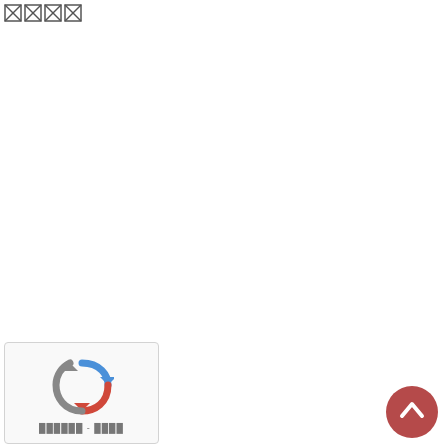[Figure (other): Four broken image placeholder icons arranged horizontally in the top-left corner]
[Figure (other): reCAPTCHA widget in the bottom-left corner showing the reCAPTCHA logo and text in a foreign script]
[Figure (other): Red circular scroll-to-top button with a white upward chevron arrow in the bottom-right corner]